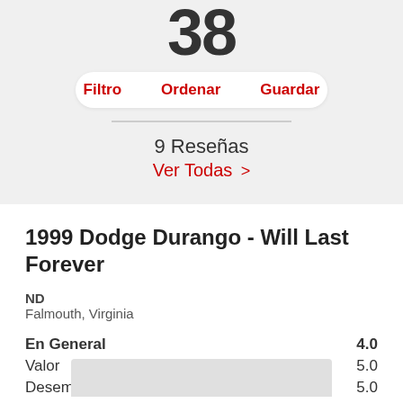[Figure (screenshot): Large bold number '38' shown at top of page in dark gray]
Filtro   Ordenar   Guardar
9 Reseñas
Ver Todas >
1999 Dodge Durango - Will Last Forever
ND
Falmouth, Virginia
En General    4.0
Valor    5.0
Desempeño    5.0